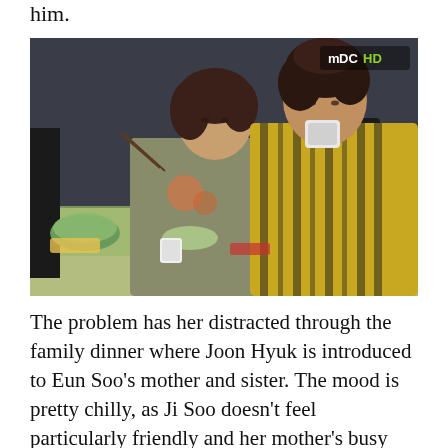him.
[Figure (photo): Two women seated at a dining table with food and dishes. The woman on the left wears a plaid shirt and holds chopsticks; the woman on the right wears a yellow patterned blouse and drinks from a cup. An MBC HD watermark is visible in the top right corner.]
The problem has her distracted through the family dinner where Joon Hyuk is introduced to Eun Soo’s mother and sister. The mood is pretty chilly, as Ji Soo doesn’t feel particularly friendly and her mother’s busy being worried over the deposit.
At home, Eun Soo presents her mother with money and the news that she made an official deposit in